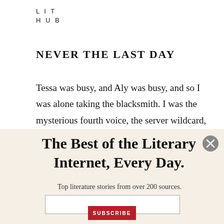LIT
HUB
NEVER THE LAST DAY
Tessa was busy, and Aly was busy, and so I was alone taking the blacksmith. I was the mysterious fourth voice, the server wildcard, and what would I say and what would I
The Best of the Literary Internet, Every Day.
Top literature stories from over 200 sources.